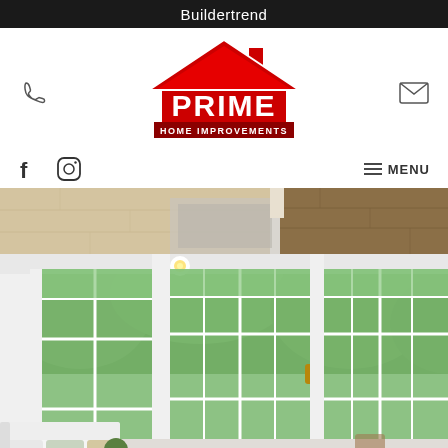Buildertrend
[Figure (logo): Prime Home Improvements logo with red house icon and bold red PRIME text above HOME IMPROVEMENTS banner]
[Figure (screenshot): Mobile app navigation bar with phone icon on left, email icon on right]
[Figure (screenshot): Social media icons (Facebook, Instagram) on left, hamburger MENU button on right]
[Figure (photo): Interior flooring detail showing light wood floor, area rug, and corner of room with wooden trim]
[Figure (photo): Bright sunroom or living room with large white-framed windows looking out to green trees, white sofa with cushions and decorative items]